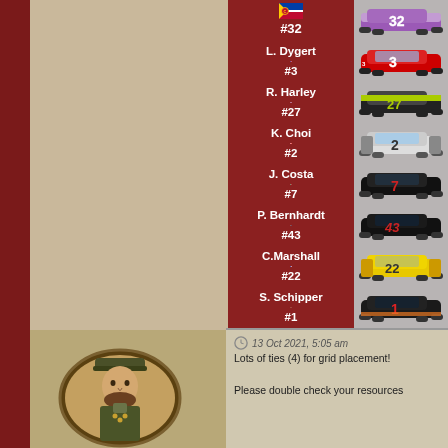| Driver / Car # | Car Image |
| --- | --- |
| #32 (Colorado flag) | car image #32 |
| L. Dygert #3 (US flag) | car image #3 |
| R. Harley #27 (UK flag) | car image #27 |
| K. Choi #2 (Canada flag) | car image #2 |
| J. Costa #7 (Italy flag) | car image #7 |
| P. Bernhardt #43 (FSU flag) | car image #43 |
| C.Marshall #22 (Texas flag) | car image #22 |
| S. Schipper #1 (Netherlands flag) | car image #1 |
13 Oct 2021, 5:05 am
Lots of ties (4) for grid placement!
Please double check your resources